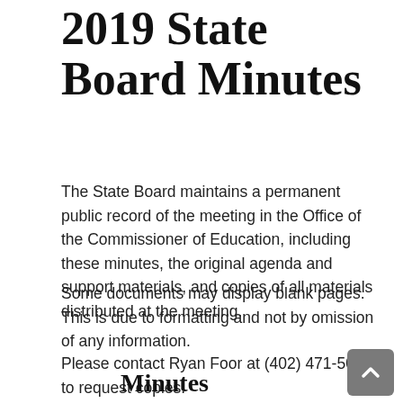2019 State Board Minutes
The State Board maintains a permanent public record of the meeting in the Office of the Commissioner of Education, including these minutes, the original agenda and support materials, and copies of all materials distributed at the meeting.
Some documents may display blank pages. This is due to formatting and not by omission of any information.
Please contact Ryan Foor at (402) 471-5030 to request copies.
Minutes